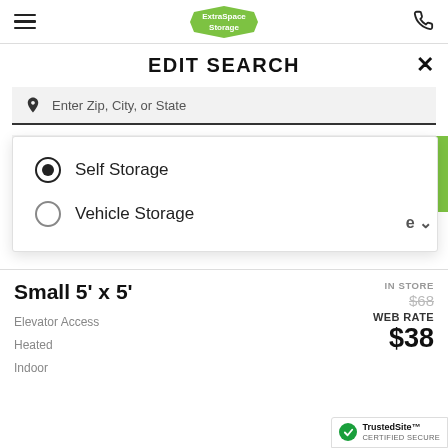[Figure (logo): ExtraSpace Storage green logo in header]
EDIT SEARCH
Enter Zip, City, or State
Self Storage | Storage Size / Storage Size
Self Storage (selected radio button)
Vehicle Storage (unselected radio button)
Small 5' x 5'
Elevator Access
Heated
Indoor
IN STORE
$68
WEB RATE
$38
[Figure (logo): TrustedSite Certified Secure badge]